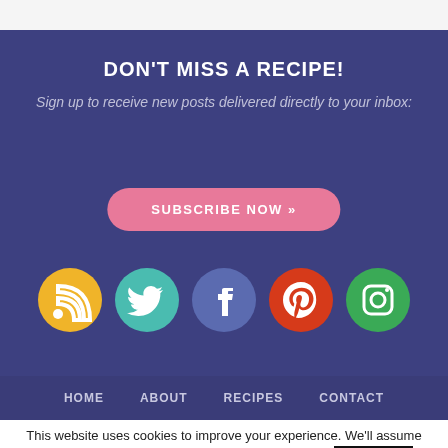DON'T MISS A RECIPE!
Sign up to receive new posts delivered directly to your inbox:
SUBSCRIBE NOW »
[Figure (infographic): Five social media icons in circles: RSS (yellow), Twitter (teal), Facebook (blue-purple), Pinterest (red-orange), Instagram (green)]
HOME   ABOUT   RECIPES   CONTACT
This website uses cookies to improve your experience. We'll assume you're ok with this, but you can opt-out if you wish.
Accept
Reject
Read More